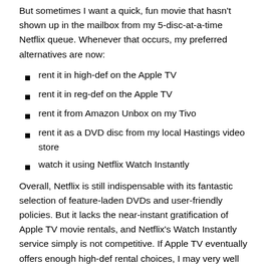But sometimes I want a quick, fun movie that hasn't shown up in the mailbox from my 5-disc-at-a-time Netflix queue. Whenever that occurs, my preferred alternatives are now:
rent it in high-def on the Apple TV
rent it in reg-def on the Apple TV
rent it from Amazon Unbox on my Tivo
rent it as a DVD disc from my local Hastings video store
watch it using Netflix Watch Instantly
Overall, Netflix is still indispensable with its fantastic selection of feature-laden DVDs and user-friendly policies. But it lacks the near-instant gratification of Apple TV movie rentals, and Netflix's Watch Instantly service simply is not competitive. If Apple TV eventually offers enough high-def rental choices, I may very well reduce my Netflix disc plan